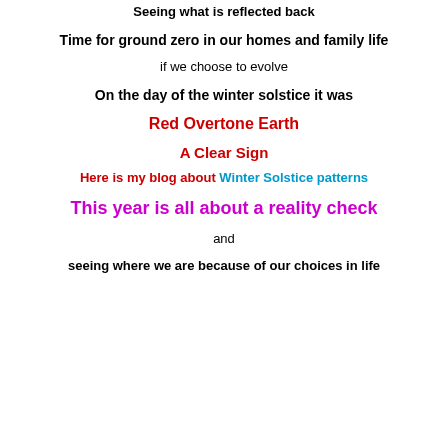Seeing what is reflected back
Time for ground zero in our homes and family life
if we choose to evolve
On the day of the winter solstice it was
Red Overtone Earth
A Clear Sign
Here is my blog about Winter Solstice patterns
This year is all about a reality check
and
seeing where we are because of our choices in life